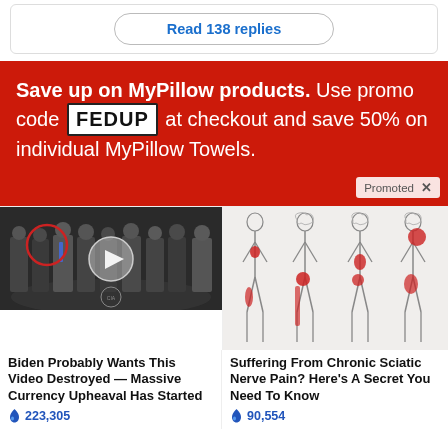Read 138 replies
[Figure (infographic): Red advertisement banner for MyPillow with promo code FEDUP, save 50% on individual MyPillow Towels. Promoted label shown.]
[Figure (photo): Video thumbnail showing group of men in suits at CIA building with play button overlay and red circle highlighting one figure]
Biden Probably Wants This Video Destroyed — Massive Currency Upheaval Has Started
223,305
[Figure (illustration): Medical illustration showing human body silhouettes with red highlighted areas indicating sciatic nerve pain locations]
Suffering From Chronic Sciatic Nerve Pain? Here's A Secret You Need To Know
90,554